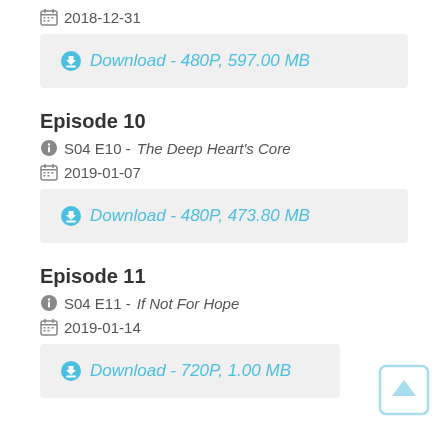2018-12-31
Download - 480P, 597.00 MB
Episode 10
S04 E10 - The Deep Heart's Core
2019-01-07
Download - 480P, 473.80 MB
Episode 11
S04 E11 - If Not For Hope
2019-01-14
Download - 720P, 1.00 MB